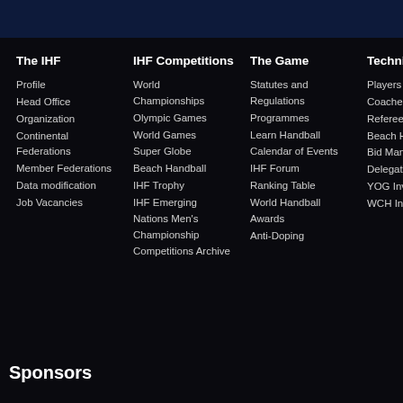The IHF
Profile
Head Office
Organization
Continental Federations
Member Federations
Data modification
Job Vacancies
IHF Competitions
World Championships
Olympic Games
World Games
Super Globe
Beach Handball
IHF Trophy
IHF Emerging Nations Men's Championship
Competitions Archive
The Game
Statutes and Regulations
Programmes
Learn Handball
Calendar of Events
IHF Forum
Ranking Table
World Handball Awards
Anti-Doping
Technical Corner
Players
Coaches
Referees
Beach Handl
Bid Manual
Delegates
YOG Invitatio
WCH Invitati
Sponsors